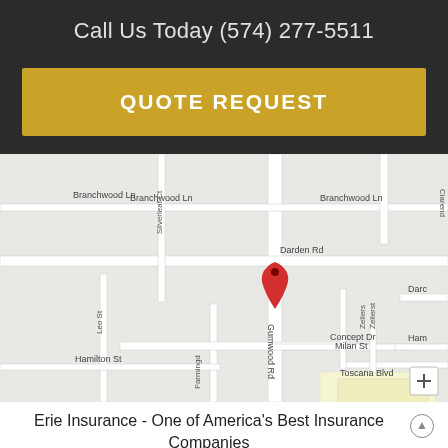Call Us Today (574) 277-5511
QUOTE REQUEST
[Figure (map): Google Maps screenshot showing location pin on Gumwood Rd near Darden Rd, Concept Dr, Branchwood Ln, and surrounding streets in what appears to be Granger/Mishawaka, Indiana area.]
Erie Insurance - One of America's Best Insurance Companies